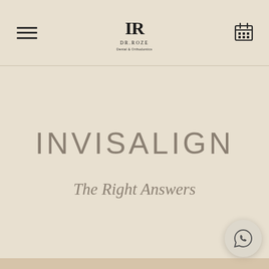DR.ROZE — Navigation header with hamburger menu, logo, and calendar icon
INVISALIGN
The Right Answers
[Figure (logo): WhatsApp contact button, circular, bottom right corner]